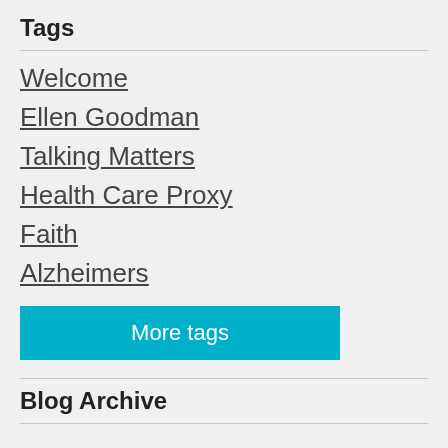Tags
Welcome
Ellen Goodman
Talking Matters
Health Care Proxy
Faith
Alzheimers
More tags
Blog Archive
2022